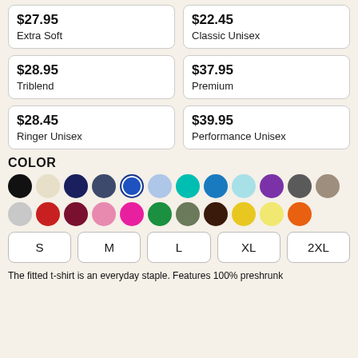| Item | Price |
| --- | --- |
| Extra Soft | $27.95 |
| Classic Unisex | $22.45 |
| Triblend | $28.95 |
| Premium | $37.95 |
| Ringer Unisex | $28.45 |
| Performance Unisex | $39.95 |
COLOR
[Figure (infographic): Color swatches row showing ~23 circles: black, cream, navy, dark slate, royal blue (selected), light blue, teal/turquoise, medium blue, light cyan, purple, dark gray, tan/taupe; second row: light gray, red, dark red/maroon, pink, hot pink, green, military green, dark brown, yellow, light yellow, orange]
[Figure (infographic): Size selector buttons: S, M, L, XL, 2XL]
The fitted t-shirt is an everyday staple. Features 100% preshrunk